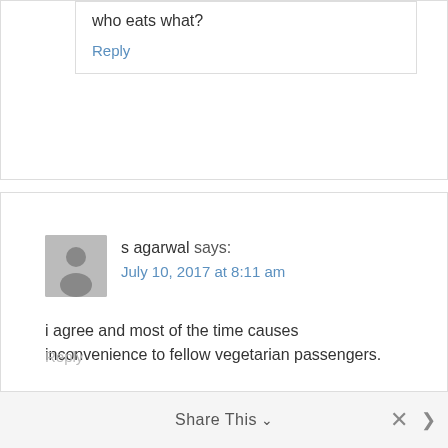who eats what?
Reply
s agarwal says:
July 10, 2017 at 8:11 am
i agree and most of the time causes inconvenience to fellow vegetarian passengers.
Reply
Share This ∨  ×